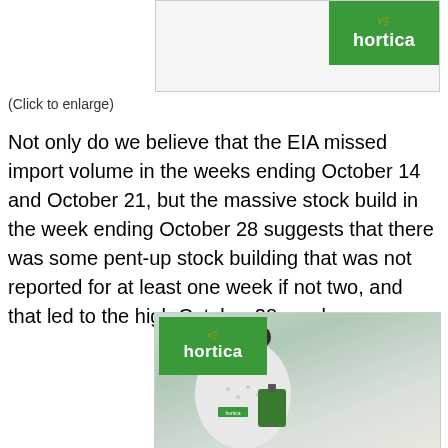[Figure (photo): Hortica advertisement banner at top with green logo badge]
(Click to enlarge)
Not only do we believe that the EIA missed import volume in the weeks ending October 14 and October 21, but the massive stock build in the week ending October 28 suggests that there was some pent-up stock building that was not reported for at least one week if not two, and that led to the high October 28 number.
[Figure (photo): Hortica advertisement with woman smiling holding clipboard in greenhouse setting]